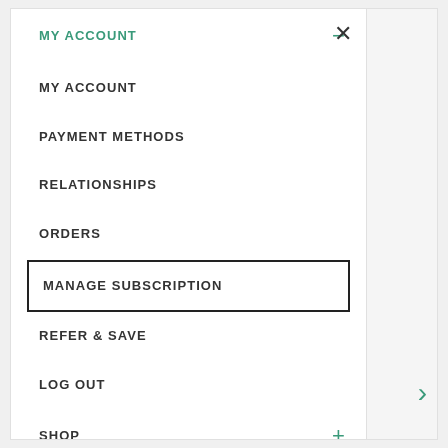MY ACCOUNT
MY ACCOUNT
PAYMENT METHODS
RELATIONSHIPS
ORDERS
MANAGE SUBSCRIPTION
REFER & SAVE
LOG OUT
SHOP
OUR DIFFERENCE
SUBSCRIPTIONS